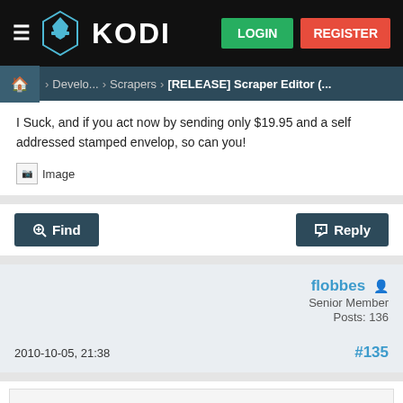KODI — LOGIN — REGISTER
Home > Develo... > Scrapers > [RELEASE] Scraper Editor (...
I Suck, and if you act now by sending only $19.95 and a self addressed stamped envelop, so can you!
[Figure (screenshot): Broken image placeholder labeled 'Image']
Find | Reply
flobbes
Senior Member
Posts: 136
2010-10-05, 21:38
#135
Nicezia Wrote:
Looking for someone who knows how to create GTK+